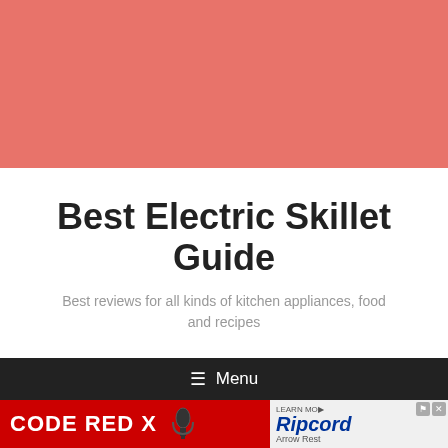[Figure (photo): Salmon/coral colored hero image banner at the top of the page]
Best Electric Skillet Guide
Best reviews for all kinds of kitchen appliances, food and recipes
≡ Menu
[Figure (infographic): Advertisement banner: CODE RED X on red background with microphone image on the left, Ripcord Arrow Rest advertisement on the right with learn more and close buttons]